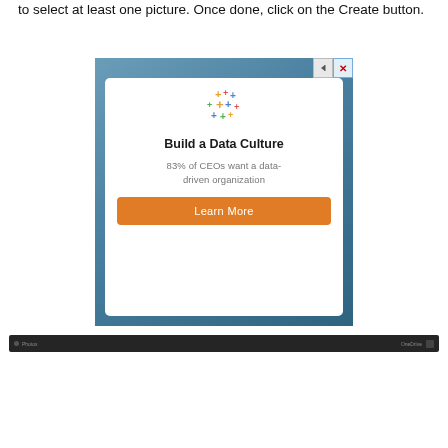to select at least one picture. Once done, click on the Create button.
[Figure (screenshot): Advertisement popup with teal/blue gradient background containing a white card. The card shows a Tableau-like colorful plus-sign logo, bold text 'Build a Data Culture', subtext '83% of CEOs want a data-driven organization', and an orange 'Learn More' button. Top-right of the ad has navigation arrows and an X close button.]
[Figure (screenshot): Dark taskbar/window bar at the bottom of the screen, dark gray background with small text items.]